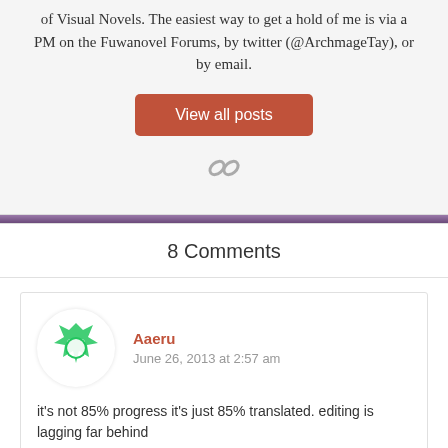of Visual Novels. The easiest way to get a hold of me is via a PM on the Fuwanovel Forums, by twitter (@ArchmageTay), or by email.
View all posts
8 Comments
Aaeru
June 26, 2013 at 2:57 am
it's not 85% progress it's just 85% translated. editing is lagging far behind
Reply